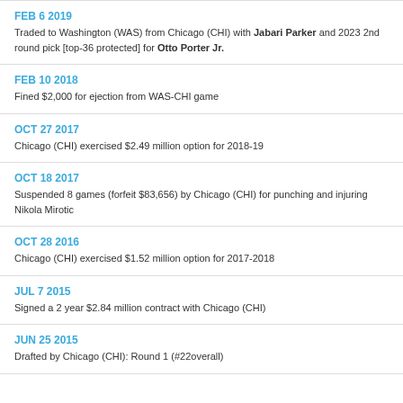FEB 6 2019
Traded to Washington (WAS) from Chicago (CHI) with Jabari Parker and 2023 2nd round pick [top-36 protected] for Otto Porter Jr.
FEB 10 2018
Fined $2,000 for ejection from WAS-CHI game
OCT 27 2017
Chicago (CHI) exercised $2.49 million option for 2018-19
OCT 18 2017
Suspended 8 games (forfeit $83,656) by Chicago (CHI) for punching and injuring Nikola Mirotic
OCT 28 2016
Chicago (CHI) exercised $1.52 million option for 2017-2018
JUL 7 2015
Signed a 2 year $2.84 million contract with Chicago (CHI)
JUN 25 2015
Drafted by Chicago (CHI): Round 1 (#22overall)